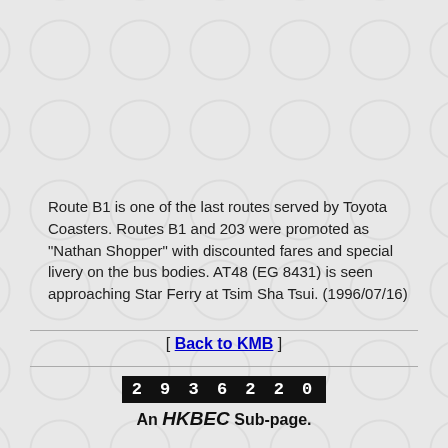Route B1 is one of the last routes served by Toyota Coasters. Routes B1 and 203 were promoted as "Nathan Shopper" with discounted fares and special livery on the bus bodies. AT48 (EG 8431) is seen approaching Star Ferry at Tsim Sha Tsui. (1996/07/16)
[ Back to KMB ]
2936220
An HKBEC Sub-page.